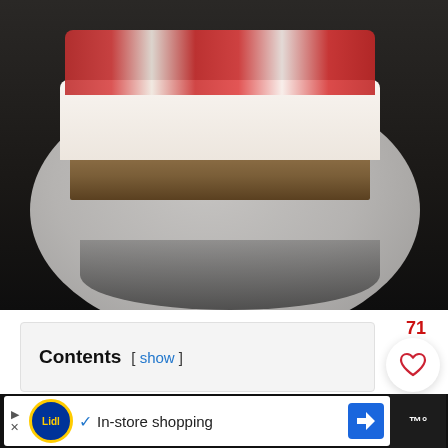[Figure (photo): Close-up photo of a slice of strawberry cheesecake or layered cake with cream and fruit toppings on a white plate, dark background]
71
Contents [ show ]
[Figure (other): Heart/like button (white circle with heart icon) and red search button (red circle with magnifying glass icon)]
[Figure (other): Advertisement banner: Lidl logo, checkmark, In-store shopping text, navigation arrow icon, weather widget]
In-store shopping